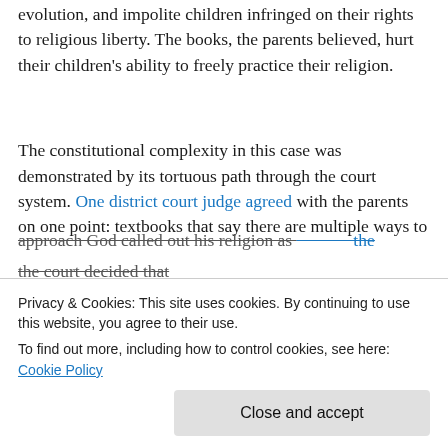evolution, and impolite children infringed on their rights to religious liberty. The books, the parents believed, hurt their children's ability to freely practice their religion.
The constitutional complexity in this case was demonstrated by its tortuous path through the court system. One district court judge agreed with the parents on one point: textbooks that say there are multiple ways to approach God called out his religion as... the court decided that
Privacy & Cookies: This site uses cookies. By continuing to use this website, you agree to their use.
To find out more, including how to control cookies, see here: Cookie Policy